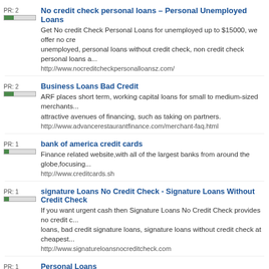No credit check personal loans – Personal Unemployed Loans
Get No credit Check Personal Loans for unemployed up to $15000, we offer no cre... unemployed, personal loans without credit check, non credit check personal loans a...
http://www.nocreditcheckpersonalloansz.com/
Business Loans Bad Credit
ARF places short term, working capital loans for small to medium-sized merchants... attractive avenues of financing, such as taking on partners.
http://www.advancerestaurantfinance.com/merchant-faq.html
bank of america credit cards
Finance related website,with all of the largest banks from around the globe,focusing...
http://www.creditcards.sh
signature Loans No Credit Check - Signature Loans Without Credit Check
If you want urgent cash then Signature Loans No Credit Check provides no credit c... loans, bad credit signature loans, signature loans without credit check at cheapest...
http://www.signatureloansnocreditcheck.com
Personal Loans
Looking for excellent prospects for personal loans? Then apply at Online Personal... unsecured personal loans for UK residents with good or bad credit history.
http://www.onlinepersonalloans.org.uk
heavy equipment loans
With Aurelian heavy equipment loans and leases, you get the working capital you n... starting out or you are well-established and projecting growth, Aurelian has flexible...
http://aurelianlending.com/commercial-lending/heavy-equipment-leasing.html